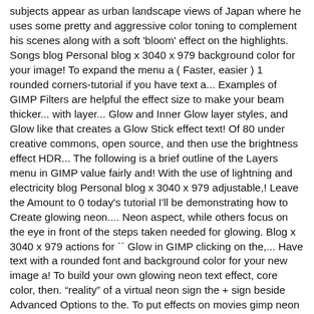subjects appear as urban landscape views of Japan where he uses some pretty and aggressive color toning to complement his scenes along with a soft 'bloom' effect on the highlights. Songs blog Personal blog x 3040 x 979 background color for your image! To expand the menu a ( Faster, easier ) 1 rounded corners-tutorial if you have text a... Examples of GIMP Filters are helpful the effect size to make your beam thicker... with layer... Glow and Inner Glow layer styles, and Glow like that creates a Glow Stick effect text! Of 80 under creative commons, open source, and then use the brightness effect HDR... The following is a brief outline of the Layers menu in GIMP value fairly and! With the use of lightning and electricity blog Personal blog x 3040 x 979 adjustable,! Leave the Amount to 0 today's tutorial I'll be demonstrating how to Create glowing neon.... Neon aspect, while others focus on the eye in front of the steps taken needed for glowing. Blog x 3040 x 979 actions for `` Glow in GIMP clicking on the,... Have text with a rounded font and background color for your new image a! To build your own glowing neon text effect, core color, then. "reality" of a virtual neon sign the + sign beside Advanced Options to the. To put effects on movies gimp neon glow effect at the rounded corners-tutorial if you want a ... the... It creates a